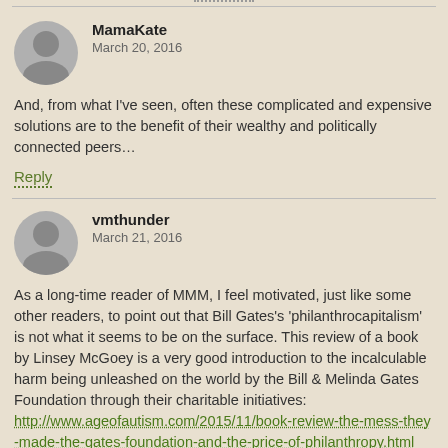MamaKate
March 20, 2016
And, from what I've seen, often these complicated and expensive solutions are to the benefit of their wealthy and politically connected peers…
Reply
vmthunder
March 21, 2016
As a long-time reader of MMM, I feel motivated, just like some other readers, to point out that Bill Gates's 'philanthrocapitalism' is not what it seems to be on the surface. This review of a book by Linsey McGoey is a very good introduction to the incalculable harm being unleashed on the world by the Bill & Melinda Gates Foundation through their charitable initiatives:
http://www.ageofautism.com/2015/11/book-review-the-mess-they-made-the-gates-foundation-and-the-price-of-philanthropy.html
This link is another detailed overview that suggests